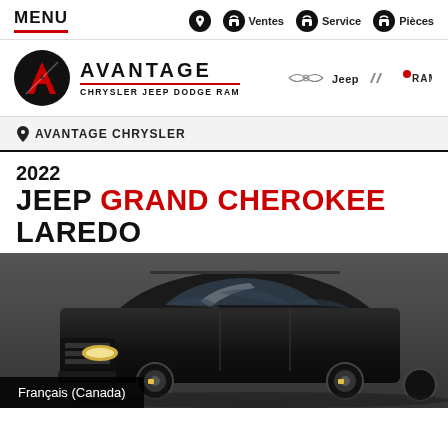MENU | Ventes | Service | Pièces
[Figure (logo): Avantage Chrysler Jeep Dodge Ram dealer logo with circular black badge containing red A, brand name AVANTAGE in bold, subtitle CHRYSLER JEEP DODGE RAM, and brand logos for Chrysler, Jeep, Dodge, Ram]
AVANTAGE CHRYSLER
2022 JEEP GRAND CHEROKEE LAREDO
[Figure (photo): Black Jeep Grand Cherokee Laredo SUV photographed from front-left angle on dark background]
Français (Canada)